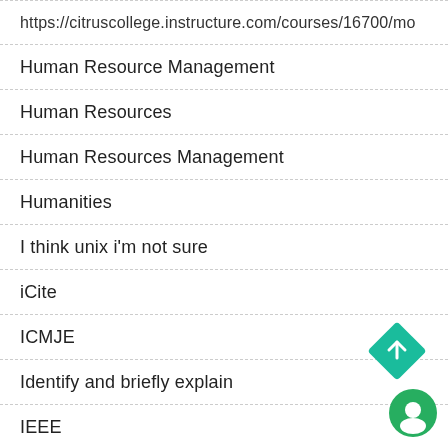https://citruscollege.instructure.com/courses/16700/mo
Human Resource Management
Human Resources
Human Resources Management
Humanities
I think unix i'm not sure
iCite
ICMJE
Identify and briefly explain
IEEE